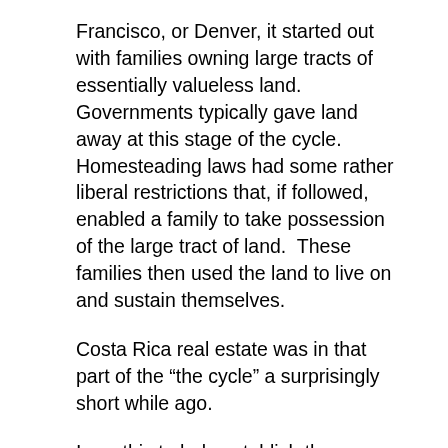Francisco, or Denver, it started out with families owning large tracts of essentially valueless land.  Governments typically gave land away at this stage of the cycle.  Homesteading laws had some rather liberal restrictions that, if followed, enabled a family to take possession of the large tract of land.  These families then used the land to live on and sustain themselves.
Costa Rica real estate was in that part of the “the cycle” a surprisingly short while ago.
I say this to help establish the paradigm here.  We are early in the cycle.  The majority of my career has been selling raw, undeveloped land.  To this day there isn’t a large selection of houses, but there are